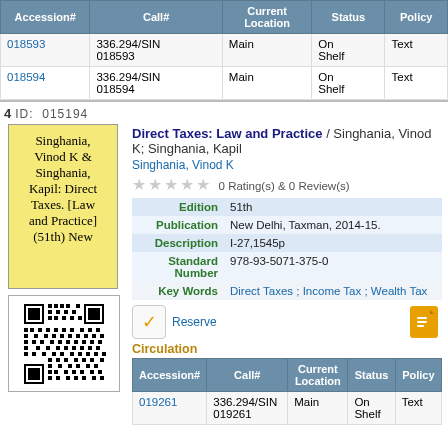| Accession# | Call# | Current Location | Status | Policy |
| --- | --- | --- | --- | --- |
| 018593 | 336.294/SIN 018593 | Main | On Shelf | Text |
| 018594 | 336.294/SIN 018594 | Main | On Shelf | Text |
4  ID: 015194
[Figure (other): Yellow book cover: Singhania, Vinod K & Singhania, Kapil: Direct Taxes. [Law and Practice] (51th) New]
[Figure (other): QR code for the book]
Direct Taxes: Law and Practice / Singhania, Vinod K; Singhania, Kapil
Singhania, Vinod K
0 Rating(s) & 0 Review(s)
| Field | Value |
| --- | --- |
| Edition | 51th |
| Publication | New Delhi, Taxman, 2014-15. |
| Description | I-27,1545p |
| Standard Number | 978-93-5071-375-0 |
| Key Words | Direct Taxes ; Income Tax ; Wealth Tax |
Reserve
Circulation
| Accession# | Call# | Current Location | Status | Policy |
| --- | --- | --- | --- | --- |
| 019261 | 336.294/SIN 019261 | Main | On Shelf | Text |